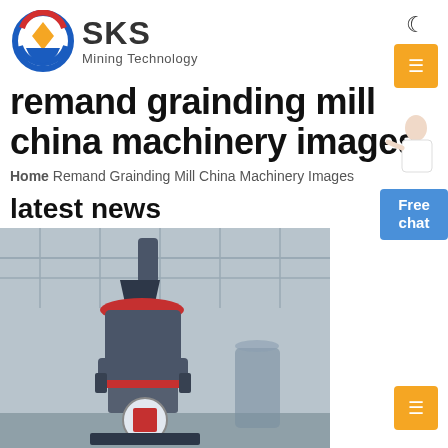SKS Mining Technology
remand grainding mill china machinery images
Home Remand Grainding Mill China Machinery Images
latest news
[Figure (photo): Industrial grinding mill machine (vertical roller mill) standing in a factory/warehouse setting with steel roof structure visible in background]